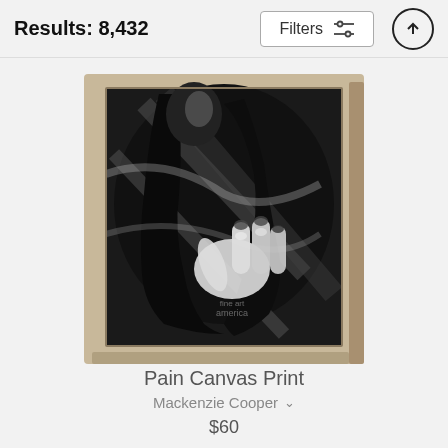Results: 8,432
Filters
[Figure (photo): A black and white canvas print depicting a figure in dark clothing with a reaching hand prominently displayed in the foreground, mounted on a light beige/tan canvas frame. Fine Art America watermark visible.]
Pain Canvas Print
Mackenzie Cooper
$60